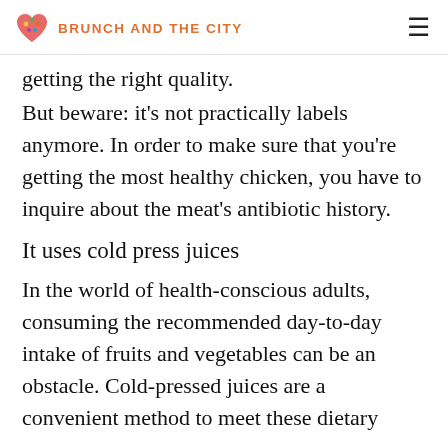BRUNCH AND THE CITY
But beware: it's not practically labels anymore. In order to make sure that you're getting the most healthy chicken, you have to inquire about the meat's antibiotic history.
It uses cold press juices
In the world of health-conscious adults, consuming the recommended day-to-day intake of fruits and vegetables can be an obstacle. Cold-pressed juices are a convenient method to meet these dietary